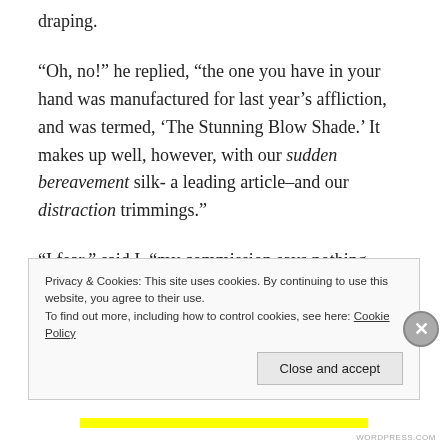draping.
“Oh, no!” he replied, “the one you have in your hand was manufactured for last year’s affliction, and was termed, ‘The Stunning Blow Shade.’ It makes up well, however, with our sudden bereavement silk- a leading article–and our distraction trimmings.”
“I fear,” said I, “my commission says nothing about these novelties.”
“Ladies in the country,” he blandly replied, “don’t know
Privacy & Cookies: This site uses cookies. By continuing to use this website, you agree to their use.
To find out more, including how to control cookies, see here: Cookie Policy
Close and accept